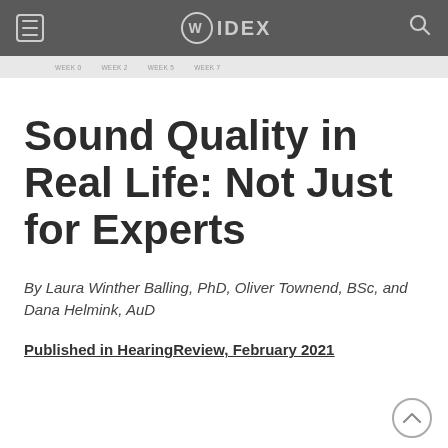WIDEX
Sound Quality in Real Life: Not Just for Experts
By Laura Winther Balling, PhD, Oliver Townend, BSc, and Dana Helmink, AuD
Published in HearingReview, February 2021